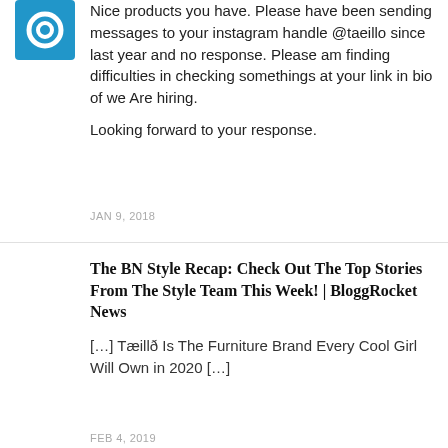[Figure (logo): Blue square avatar/logo icon with a white circular element]
Nice products you have. Please have been sending messages to your instagram handle @taeillo since last year and no response. Please am finding difficulties in checking somethings at your link in bio of we Are hiring.

Looking forward to your response.
JAN 9, 2018
The BN Style Recap: Check Out The Top Stories From The Style Team This Week! | BloggRocket News
[…] Tæillð Is The Furniture Brand Every Cool Girl Will Own in 2020 […]
FEB 4, 2019